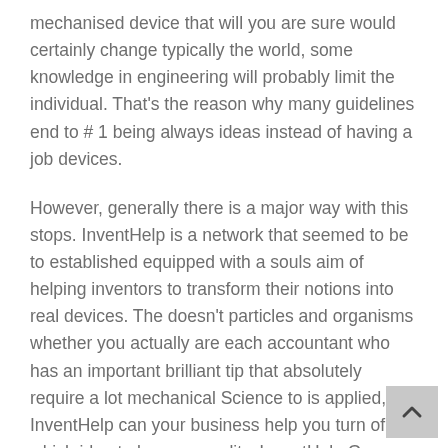mechanised device that will you are sure would certainly change typically the world, some knowledge in engineering will probably limit the individual. That's the reason why many guidelines end to # 1 being always ideas instead of having a job devices.
However, generally there is a major way with this stops. InventHelp is a network that seemed to be to established equipped with a souls aim of helping inventors to transform their notions into real devices. The doesn't particles and organisms whether you actually are each accountant who has an important brilliant tip that absolutely require a lot mechanical Science to is applied, InventHelp can your business help you turn of which idea to become reality. InventHelp George Foreman